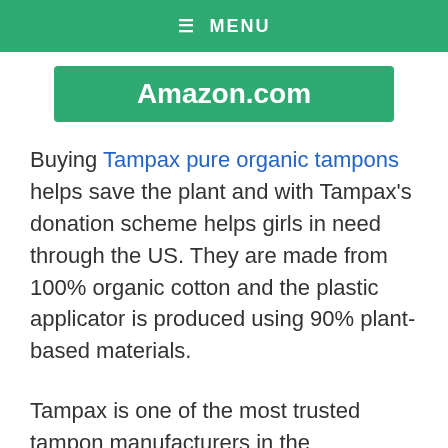≡ MENU
[Figure (other): Green button/banner with text Amazon.com]
Buying Tampax pure organic tampons helps save the plant and with Tampax's donation scheme helps girls in need through the US. They are made from 100% organic cotton and the plastic applicator is produced using 90% plant-based materials.
Tampax is one of the most trusted tampon manufacturers in the